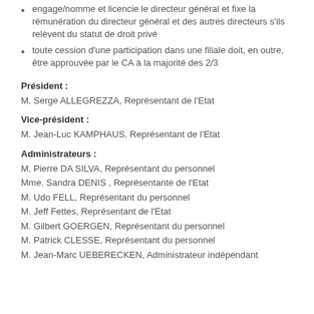engage/nomme et licencie le directeur général et fixe la rémunération du directeur général et des autres directeurs s'ils relèvent du statut de droit privé
toute cession d'une participation dans une filiale doit, en outre, être approuvée par le CA à la majorité des 2/3
Président :
M. Serge ALLEGREZZA, Représentant de l'Etat
Vice-président :
M. Jean-Luc KAMPHAUS, Représentant de l'Etat
Administrateurs :
M. Pierre DA SILVA, Représentant du personnel
Mme. Sandra DENIS , Représentante de l'Etat
M. Udo FELL, Représentant du personnel
M. Jeff Fettes, Représentant de l'Etat
M. Gilbert GOERGEN, Représentant du personnel
M. Patrick CLESSE, Représentant du personnel
M. Jean-Marc UEBERECKEN, Administrateur indépendant